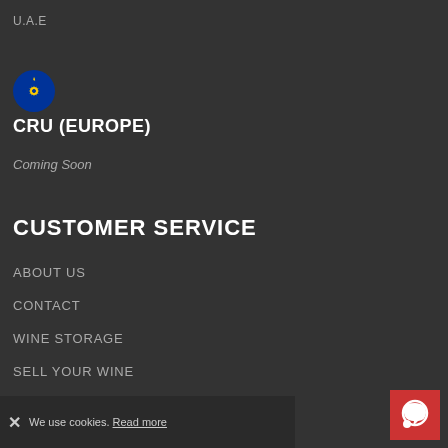U.A.E
[Figure (illustration): European Union flag icon — blue circle with yellow stars]
CRU (EUROPE)
Coming Soon
CUSTOMER SERVICE
ABOUT US
CONTACT
WINE STORAGE
SELL YOUR WINE
DELIVERY
TERMS & CONDITIONS
PRIVACY & COOKIES
We use cookies. Read more
[Figure (illustration): Red chat/speech bubble icon button in bottom-right corner]